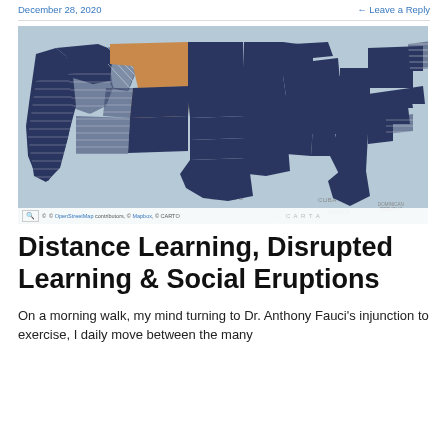December 28, 2020  ← Leave a Reply
[Figure (map): US map showing states colored in dark navy blue (solid and hatched patterns) and one state (Montana/Wyoming region) highlighted in orange/tan. Most states are dark navy. Mexico, Cuba, Jamaica, Dominican Republic visible at bottom. OpenStreetMap attribution and CARTO logo at bottom.]
Distance Learning, Disrupted Learning & Social Eruptions
On a morning walk, my mind turning to Dr. Anthony Fauci's injunction to exercise, I daily move between the many